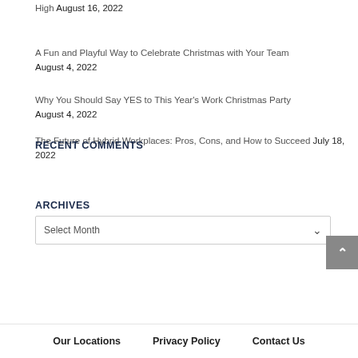High August 16, 2022
A Fun and Playful Way to Celebrate Christmas with Your Team August 4, 2022
Why You Should Say YES to This Year's Work Christmas Party August 4, 2022
The Future of Hybrid Workplaces: Pros, Cons, and How to Succeed July 18, 2022
RECENT COMMENTS
ARCHIVES
Select Month
Our Locations   Privacy Policy   Contact Us